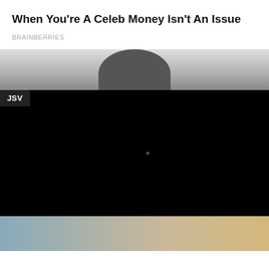When You're A Celeb Money Isn't An Issue
BRAINBERRIES
[Figure (photo): Black and white image showing the top portion of a person's head with dark hair against a light gray background]
[Figure (screenshot): Dark/black video player area with a JSV label in the top-left corner and a faint dot near center]
[Figure (photo): Bottom strip showing partial image of a person outdoors with warm lighting and greenery]